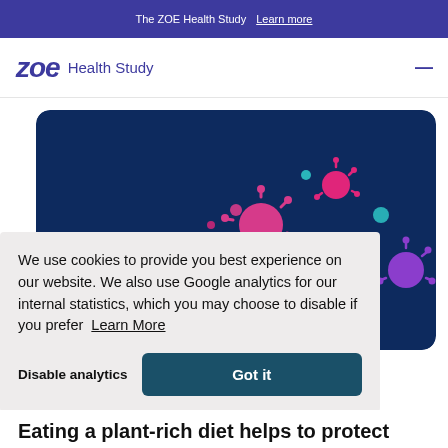The ZOE Health Study  Learn more
[Figure (logo): ZOE Health Study logo with italic bold ZOE text in indigo and 'Health Study' subtitle]
[Figure (illustration): Dark navy blue rounded rectangle hero image with colorful virus/pathogen illustrations in pink, magenta, teal and purple dots and spiky virus shapes]
We use cookies to provide you best experience on our website. We also use Google analytics for our internal statistics, which you may choose to disable if you prefer  Learn More
Disable analytics   Got it
Eating a plant-rich diet helps to protect